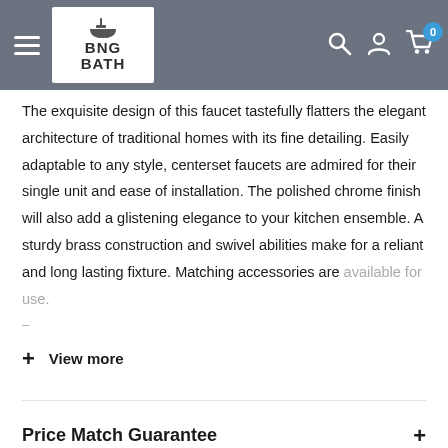BNG BATH
The exquisite design of this faucet tastefully flatters the elegant architecture of traditional homes with its fine detailing. Easily adaptable to any style, centerset faucets are admired for their single unit and ease of installation. The polished chrome finish will also add a glistening elegance to your kitchen ensemble. A sturdy brass construction and swivel abilities make for a reliant and long lasting fixture. Matching accessories are available for use.
+ View more
Price Match Guarantee